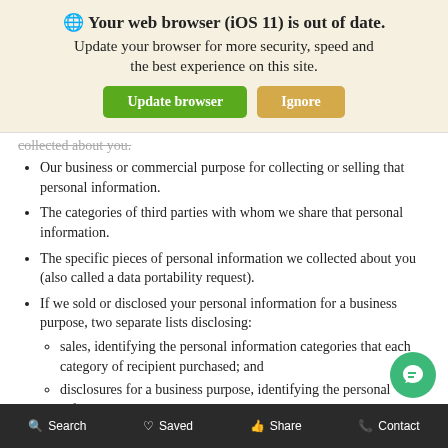[Figure (screenshot): Browser update notification banner with globe icon, bold title 'Your web browser (iOS 11) is out of date.', subtitle text, and two buttons: green 'Update browser' and tan 'Ignore']
collected about you.
Our business or commercial purpose for collecting or selling that personal information.
The categories of third parties with whom we share that personal information.
The specific pieces of personal information we collected about you (also called a data portability request).
If we sold or disclosed your personal information for a business purpose, two separate lists disclosing:
sales, identifying the personal information categories that each category of recipient purchased; and
disclosures for a business purpose, identifying the personal information categories that each
Search   Saved   Share   Contact